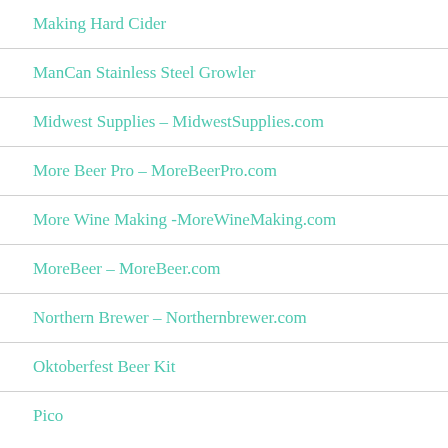Making Hard Cider
ManCan Stainless Steel Growler
Midwest Supplies – MidwestSupplies.com
More Beer Pro – MoreBeerPro.com
More Wine Making -MoreWineMaking.com
MoreBeer – MoreBeer.com
Northern Brewer – Northernbrewer.com
Oktoberfest Beer Kit
Pico